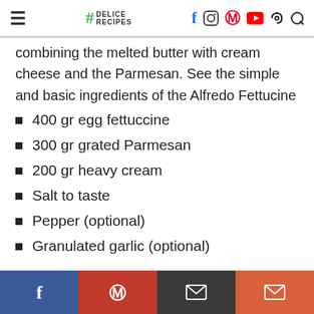≡ #DELICE RECIPES [social icons: Facebook, Instagram, Pinterest, YouTube, Search]
combining the melted butter with cream cheese and the Parmesan. See the simple and basic ingredients of the Alfredo Fettucine
400 gr egg fettuccine
300 gr grated Parmesan
200 gr heavy cream
Salt to taste
Pepper (optional)
Granulated garlic (optional)